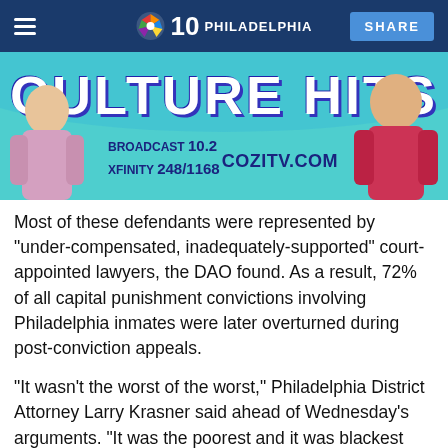NBC 10 PHILADELPHIA | SHARE
[Figure (illustration): COZI TV advertisement banner showing 'CULTURE HITS' text, two people on left and right, with text: BROADCAST 10.2, XFINITY 248/1168, COZITV.COM on a teal/cyan background.]
Most of these defendants were represented by "under-compensated, inadequately-supported" court-appointed lawyers, the DAO found. As a result, 72% of all capital punishment convictions involving Philadelphia inmates were later overturned during post-conviction appeals.
"It wasn't the worst of the worst," Philadelphia District Attorney Larry Krasner said ahead of Wednesday's arguments. "It was the poorest and it was blackest and brownist."